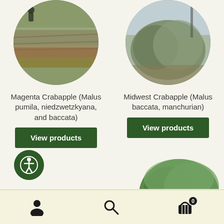[Figure (photo): Circular photo of a field/garden with rows of red-brown ground cover, a person visible at top]
[Figure (photo): Circular photo of a shrubby tree with grey-green foliage against a blue sky]
Magenta Crabapple (Malus pumila, niedzwetzkyana, and baccata)
Midwest Crabapple (Malus baccata, manchurian)
View products
View products
[Figure (photo): Partial circular photo of a green leafy tree, partially cut off at bottom of page]
[Figure (illustration): Accessibility icon (person in circle) on dark green button]
User icon | Search icon | Cart icon with badge 0